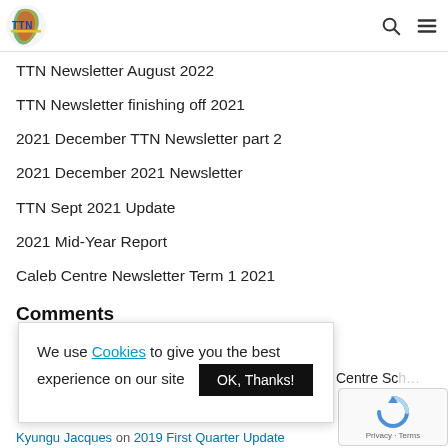TTN [logo] [search icon] [menu icon]
TTN Newsletter August 2022
TTN Newsletter finishing off 2021
2021 December TTN Newsletter part 2
2021 December 2021 Newsletter
TTN Sept 2021 Update
2021 Mid-Year Report
Caleb Centre Newsletter Term 1 2021
Comments
We use Cookies to give you the best experience on our site  OK, Thanks!
Centre Sc...
Kyungu Jacques on 2019 First Quarter Update